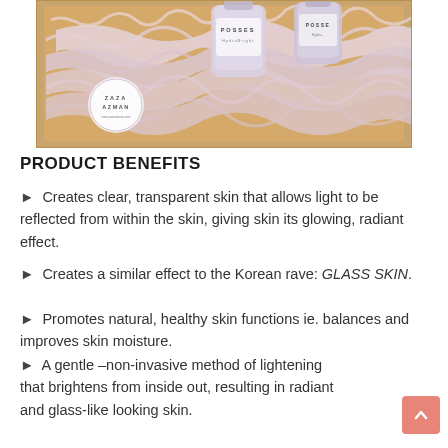[Figure (photo): A wooden box filled with shredded white/light pink paper packing material, containing POSSES HydraBright skincare product bottles. A circular ZAZA AZMAN brand sticker is visible in the lower left of the box.]
PRODUCT BENEFITS
► Creates clear, transparent skin that allows light to be reflected from within the skin, giving skin its glowing, radiant effect.
► Creates a similar effect to the Korean rave: GLASS SKIN.
► Promotes natural, healthy skin functions ie. balances and improves skin moisture.
► A gentle –non-invasive method of lightening that brightens from inside out, resulting in radiant and glass-like looking skin.